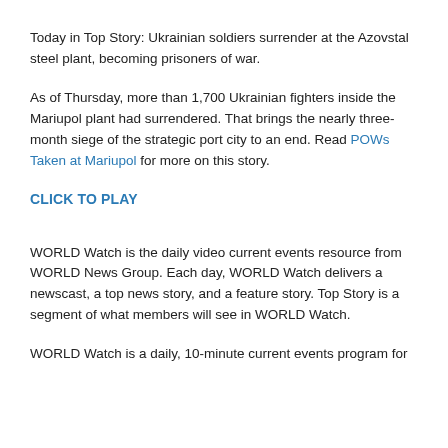Today in Top Story: Ukrainian soldiers surrender at the Azovstal steel plant, becoming prisoners of war.
As of Thursday, more than 1,700 Ukrainian fighters inside the Mariupol plant had surrendered. That brings the nearly three-month siege of the strategic port city to an end. Read POWs Taken at Mariupol for more on this story.
CLICK TO PLAY
WORLD Watch is the daily video current events resource from WORLD News Group. Each day, WORLD Watch delivers a newscast, a top news story, and a feature story. Top Story is a segment of what members will see in WORLD Watch.
WORLD Watch is a daily, 10-minute current events program for